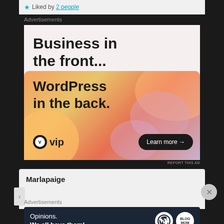Liked by 2 people
Advertisements
[Figure (illustration): WordPress VIP advertisement: 'Business in the front... WordPress in the back.' with Learn more button and colorful gradient background with bokeh circles]
REPORT THIS AD
Marlapaige
Advertisements
[Figure (illustration): Dark blue advertisement banner: 'Opinions. We all have them!' with WordPress and blog logo icons]